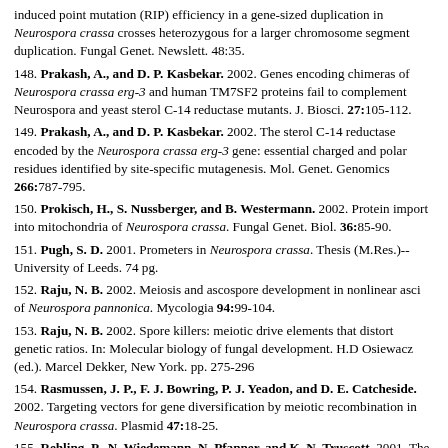(147) ...An alternative explanation for the reduced repeat-induced point mutation (RIP) efficiency in a gene-sized duplication in Neurospora crassa crosses heterozygous for a larger chromosome segment duplication. Fungal Genet. Newslett. 48:35.
148. Prakash, A., and D. P. Kasbekar. 2002. Genes encoding chimeras of Neurospora crassa erg-3 and human TM7SF2 proteins fail to complement Neurospora and yeast sterol C-14 reductase mutants. J. Biosci. 27:105-112.
149. Prakash, A., and D. P. Kasbekar. 2002. The sterol C-14 reductase encoded by the Neurospora crassa erg-3 gene: essential charged and polar residues identified by site-specific mutagenesis. Mol. Genet. Genomics 266:787-795.
150. Prokisch, H., S. Nussberger, and B. Westermann. 2002. Protein import into mitochondria of Neurospora crassa. Fungal Genet. Biol. 36:85-90.
151. Pugh, S. D. 2001. Prometers in Neurospora crassa. Thesis (M.Res.)--University of Leeds. 74 pg.
152. Raju, N. B. 2002. Meiosis and ascospore development in nonlinear asci of Neurospora pannonica. Mycologia 94:99-104.
153. Raju, N. B. 2002. Spore killers: meiotic drive elements that distort genetic ratios. In: Molecular biology of fungal development. H.D Osiewacz (ed.). Marcel Dekker, New York. pp. 275-296
154. Rasmussen, J. P., F. J. Bowring, P. J. Yeadon, and D. E. Catcheside. 2002. Targeting vectors for gene diversification by meiotic recombination in Neurospora crassa. Plasmid 47:18-25.
155. Rehling, P., N. Wiedemann, N. Pfanner, and K. N. Truscott. 2001. The mitochondrial import machinery for preproteins. Crit. Rev. Biochem. Mol. Biol. 36:291-336.
156. Ren, Q. 2001. Development and analysis of an expressed sequence tag database from Fusarium sporotrichioides. Thesis (Ph. D.)--University of